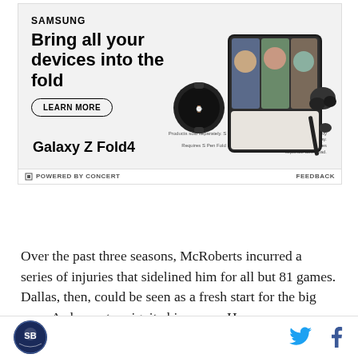[Figure (photo): Samsung Galaxy Z Fold4 advertisement banner showing the phone unfolded with a video call, alongside Galaxy Watch and Buds Pro. Text: SAMSUNG, Bring all your devices into the fold, LEARN MORE, Galaxy Z Fold4]
⊟ POWERED BY CONCERT    FEEDBACK
Over the past three seasons, McRoberts incurred a series of injuries that sidelined him for all but 81 games. Dallas, then, could be seen as a fresh start for the big man. A chance to reignite his career. However,
SB Nation logo | Twitter icon | Facebook icon